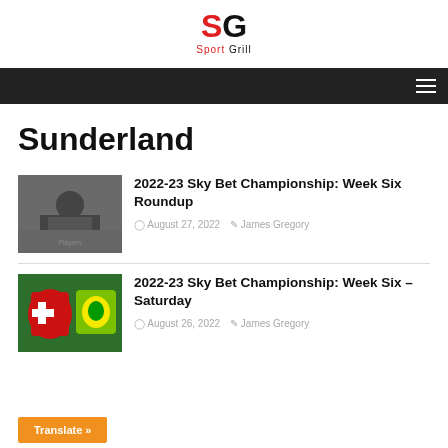SG Sport Grill
Sunderland
2022-23 Sky Bet Championship: Week Six Roundup
August 27, 2022  James Gregory
[Figure (photo): Sports players action photo]
2022-23 Sky Bet Championship: Week Six – Saturday
August 26, 2022  James Gregory
[Figure (photo): Sunderland and Norwich City badges on grass]
Translate »